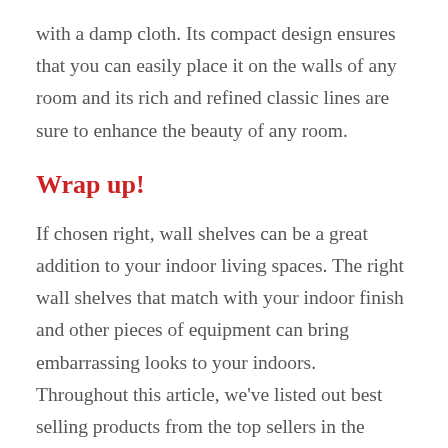with a damp cloth. Its compact design ensures that you can easily place it on the walls of any room and its rich and refined classic lines are sure to enhance the beauty of any room.
Wrap up!
If chosen right, wall shelves can be a great addition to your indoor living spaces. The right wall shelves that match with your indoor finish and other pieces of equipment can bring embarrassing looks to your indoors. Throughout this article, we've listed out best selling products from the top sellers in the market to ease up your buying process.  The products are reviewed only after making sure that they qualify certain quality